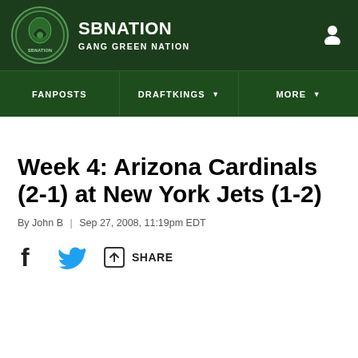SB NATION — GANG GREEN NATION
Week 4: Arizona Cardinals (2-1) at New York Jets (1-2)
By John B  |  Sep 27, 2008, 11:19pm EDT
SHARE